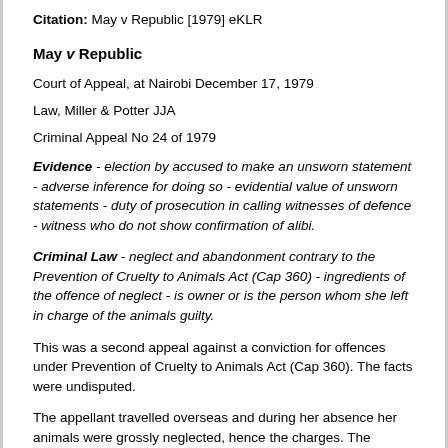Citation: May v Republic [1979] eKLR
May v Republic
Court of Appeal, at Nairobi December 17, 1979
Law, Miller & Potter JJA
Criminal Appeal No 24 of 1979
Evidence - election by accused to make an unsworn statement - adverse inference for doing so - evidential value of unsworn statements - duty of prosecution in calling witnesses of defence - witness who do not show confirmation of alibi.
Criminal Law - neglect and abandonment contrary to the Prevention of Cruelty to Animals Act (Cap 360) - ingredients of the offence of neglect - is owner or is the person whom she left in charge of the animals guilty.
This was a second appeal against a conviction for offences under Prevention of Cruelty to Animals Act (Cap 360). The facts were undisputed.
The appellant travelled overseas and during her absence her animals were grossly neglected, hence the charges. The appellant’s defence